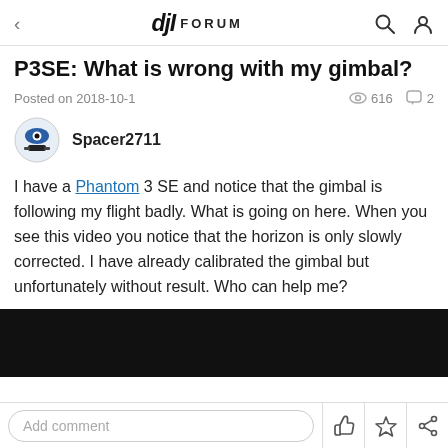DJI FORUM
P3SE: What is wrong with my gimbal?
Posted on 2018-10-1   616   2
Spacer2711
I have a Phantom 3 SE and notice that the gimbal is following my flight badly. What is going on here. When you see this video you notice that the horizon is only slowly corrected. I have already calibrated the gimbal but unfortunately without result. Who can help me?
[Figure (screenshot): Black video thumbnail embed]
Add comment